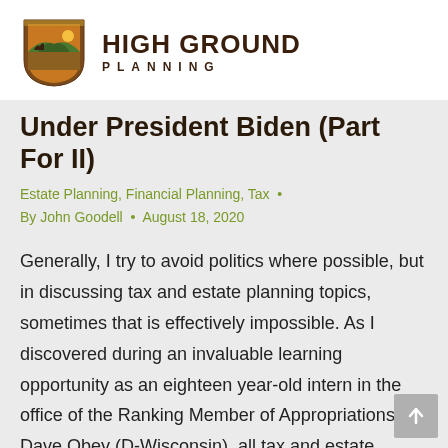[Figure (logo): High Ground Planning logo with shield emblem and company name]
Under President Biden (Part For II)
Estate Planning, Financial Planning, Tax •
By John Goodell • August 18, 2020
Generally, I try to avoid politics where possible, but in discussing tax and estate planning topics, sometimes that is effectively impossible. As I discovered during an invaluable learning opportunity as an eighteen year-old intern in the office of the Ranking Member of Appropriations, Dave Obey (D-Wisconsin), all tax and estate planning laws are political instruments with the goal of...